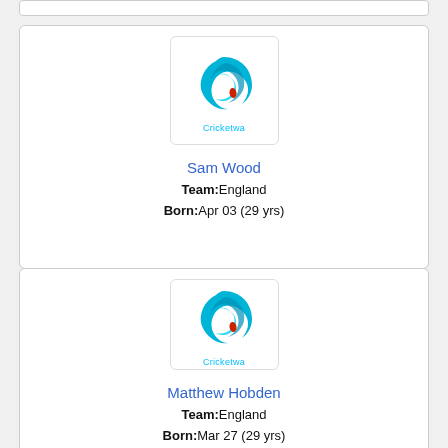[Figure (logo): Cricketwa logo - blue wave with red droplet]
Sam Wood
Team:England
Born:Apr 03 (29 yrs)
[Figure (logo): Cricketwa logo - blue wave with red droplet]
Matthew Hobden
Team:England
Born:Mar 27 (29 yrs)